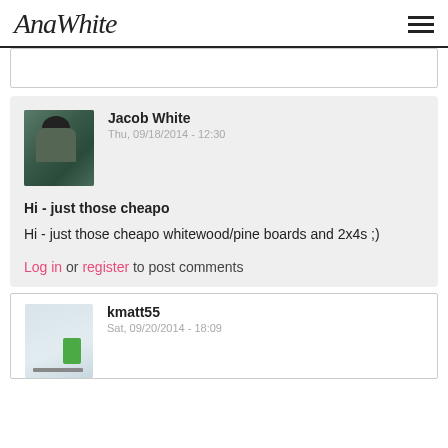AnaWhite
Jacob White
Thu, 09/18/2014 - 12:30
Hi - just those cheapo
Hi - just those cheapo whitewood/pine boards and 2x4s ;)
Log in or register to post comments
kmatt55
Sat, 09/20/2014 - 18:09